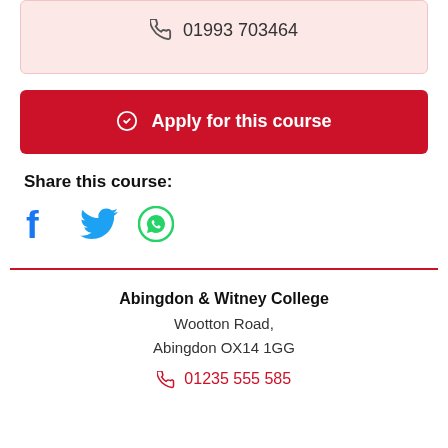📞 01993 703464
Apply for this course
Share this course:
[Figure (illustration): Social media icons: Facebook (blue f), Twitter (blue bird), WhatsApp (green phone in circle)]
Abingdon & Witney College
Wootton Road,
Abingdon OX14 1GG
01235 555 585